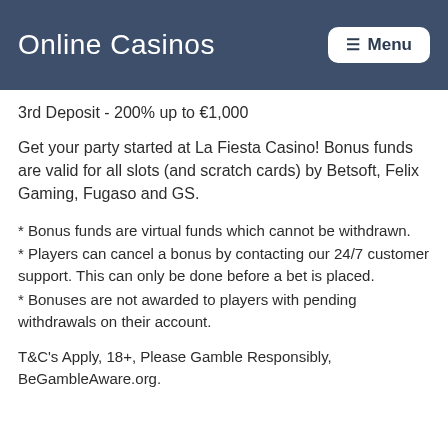Online Casinos  Menu
3rd Deposit - 200% up to €1,000
Get your party started at La Fiesta Casino! Bonus funds are valid for all slots (and scratch cards) by Betsoft, Felix Gaming, Fugaso and GS.
* Bonus funds are virtual funds which cannot be withdrawn.
* Players can cancel a bonus by contacting our 24/7 customer support. This can only be done before a bet is placed.
* Bonuses are not awarded to players with pending withdrawals on their account.
T&C's Apply, 18+, Please Gamble Responsibly, BeGambleAware.org.